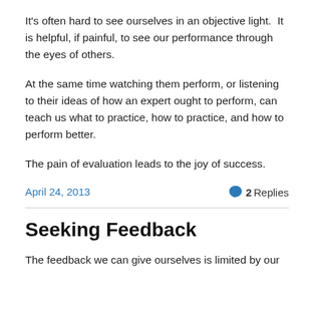It's often hard to see ourselves in an objective light.  It is helpful, if painful, to see our performance through the eyes of others.
At the same time watching them perform, or listening to their ideas of how an expert ought to perform, can teach us what to practice, how to practice, and how to perform better.
The pain of evaluation leads to the joy of success.
April 24, 2013
2 Replies
Seeking Feedback
The feedback we can give ourselves is limited by our